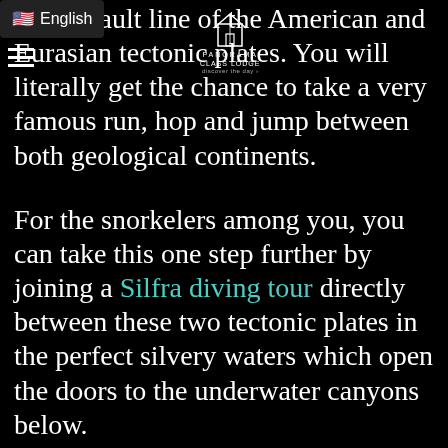on the fault line of the American and Eurasian tectonic plates. You will literally get the chance to take a very famous run, hop and jump between both geological continents.
For the snorkelers among you, you can take this one step further by joining a Silfra diving tour directly between these two tectonic plates in the perfect silvery waters which open the doors to the underwater canyons below.
How can I say this clear enough? If you come to Iceland, you have to visit Þingvellir. There's no other place on the planet where you can visibly see the splitting of 2 major tectonic plates, let alone walk through them.